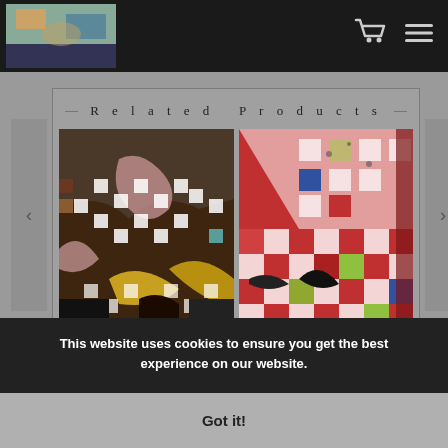Navigation bar with logo, cart icon, and menu icon
Related Products
[Figure (illustration): Abstract artwork with checkered pattern squares in black, white, yellow, brown, pink on dark background — carousel product image 1]
[Figure (illustration): Abstract artwork with checkered pattern squares in red, white, green, blue on red background — carousel product image 2]
This website uses cookies to ensure you get the best experience on our website.
Got it!